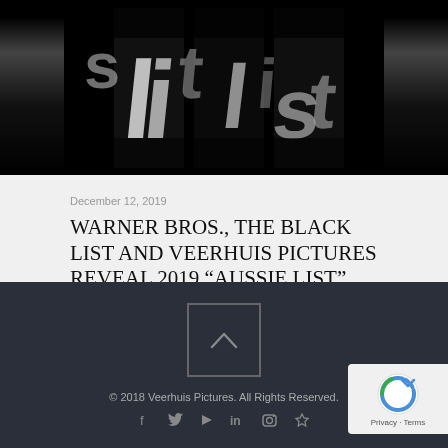[Figure (photo): Black and white close-up photograph of what appears to be newspaper or printed text columns with large letters visible]
December 12, 2019
WARNER BROS., THE BLACK LIST AND VEERHUIS PICTURES REVEAL 2019 “AUSSIE LIST”
Read more
© 2018 Veerhuis Pictures. All Rights Reserved.